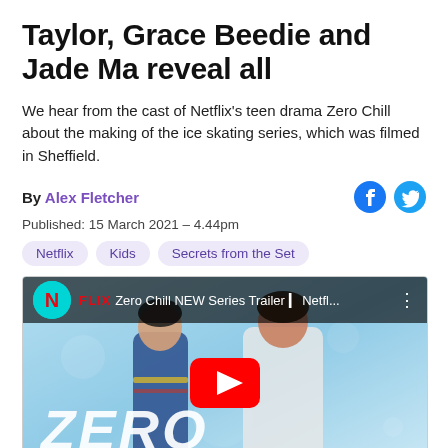Taylor, Grace Beedie and Jade Ma reveal all
We hear from the cast of Netflix's teen drama Zero Chill about the making of the ice skating series, which was filmed in Sheffield.
By Alex Fletcher
Published: 15 March 2021 – 4.44pm
Netflix
Kids
Secrets from the Set
[Figure (screenshot): YouTube video thumbnail for 'Zero Chill NEW Series Trailer | Netfl...' showing two teenagers on an ice rink background with a red YouTube play button in the center and 'ZERO' text at the bottom left. Netflix logo visible in the top bar.]